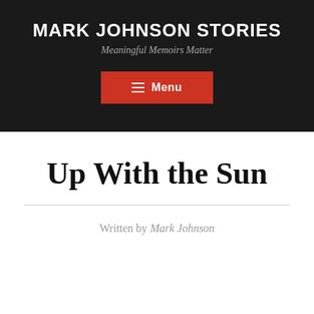MARK JOHNSON STORIES
Meaningful Memoirs Matter
Menu
Up With the Sun
Written by Mark Johnson